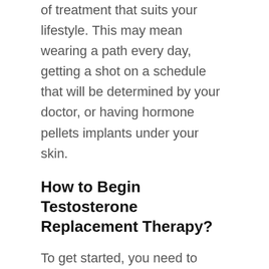of treatment that suits your lifestyle. This may mean wearing a path every day, getting a shot on a schedule that will be determined by your doctor, or having hormone pellets implants under your skin.
How to Begin Testosterone Replacement Therapy?
To get started, you need to confirm that low testosterone levels are causing your symptoms. There is a possibility that another condition could be causing the problem. Turn to Testosterone Clinic PRO doctors to experience the benefits of a professional evaluation. When